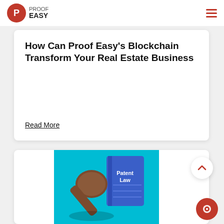Proof Easy
How Can Proof Easy's Blockchain Transform Your Real Estate Business
Read More
[Figure (illustration): Illustration showing a gavel and a blue book labelled 'Patent Law' on a teal background]